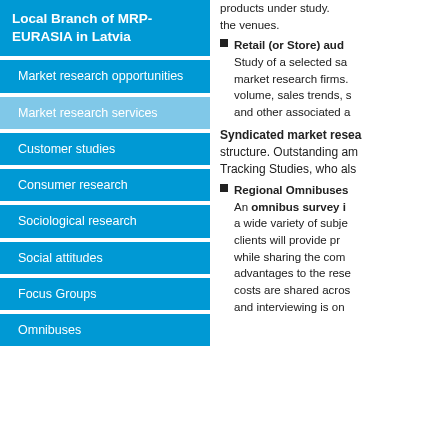Local Branch of MRP-EURASIA in Latvia
Market research opportunities
Market research services
Customer studies
Consumer research
Sociological research
Social attitudes
Focus Groups
Omnibuses
products under study. the venues.
Retail (or Store) aud Study of a selected sa market research firms. volume, sales trends, s and other associated a
Syndicated market resea structure. Outstanding am Tracking Studies, who als
Regional Omnibuses An omnibus survey i a wide variety of subje clients will provide pr while sharing the com advantages to the rese costs are shared acros and interviewing is on